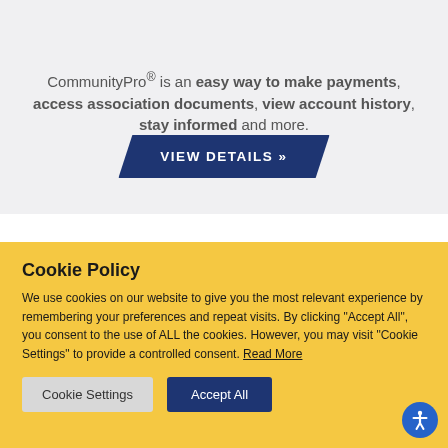CommunityPro® is an easy way to make payments, access association documents, view account history, stay informed and more.
VIEW DETAILS »
Cookie Policy
We use cookies on our website to give you the most relevant experience by remembering your preferences and repeat visits. By clicking "Accept All", you consent to the use of ALL the cookies. However, you may visit "Cookie Settings" to provide a controlled consent. Read More
Cookie Settings
Accept All